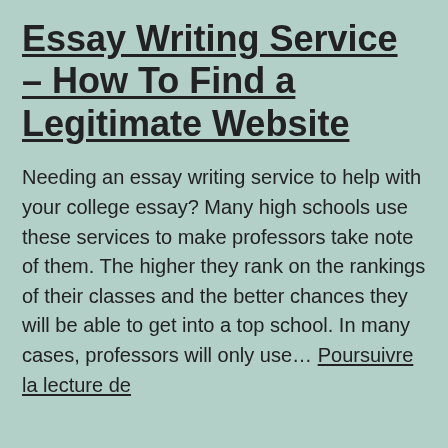Essay Writing Service – How To Find a Legitimate Website
Needing an essay writing service to help with your college essay? Many high schools use these services to make professors take note of them. The higher they rank on the rankings of their classes and the better chances they will be able to get into a top school. In many cases, professors will only use… Poursuivre la lecture de